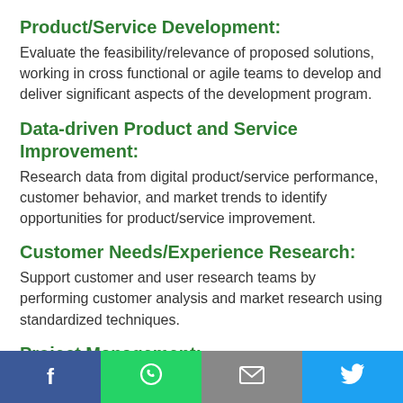Product/Service Development:
Evaluate the feasibility/relevance of proposed solutions, working in cross functional or agile teams to develop and deliver significant aspects of the development program.
Data-driven Product and Service Improvement:
Research data from digital product/service performance, customer behavior, and market trends to identify opportunities for product/service improvement.
Customer Needs/Experience Research:
Support customer and user research teams by performing customer analysis and market research using standardized techniques.
Project Management:
[Figure (infographic): Social media share buttons bar at the bottom: Facebook (dark blue), WhatsApp (green), Email (grey), Twitter (light blue)]